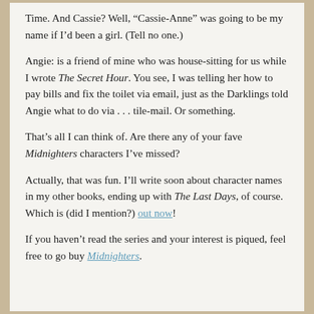Time. And Cassie? Well, “Cassie-Anne” was going to be my name if I’d been a girl. (Tell no one.)
Angie: is a friend of mine who was house-sitting for us while I wrote The Secret Hour. You see, I was telling her how to pay bills and fix the toilet via email, just as the Darklings told Angie what to do via . . . tile-mail. Or something.
That’s all I can think of. Are there any of your fave Midnighters characters I’ve missed?
Actually, that was fun. I’ll write soon about character names in my other books, ending up with The Last Days, of course. Which is (did I mention?) out now!
If you haven’t read the series and your interest is piqued, feel free to go buy Midnighters.